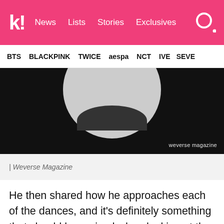k! News Lists Stories Exclusives
BTS BLACKPINK TWICE aespa NCT IVE SEVE
[Figure (photo): Close-up photo of a person wearing a black t-shirt with a white circular neckline visible, dark background. Watermark reads 'weverse magazine'.]
| Weverse Magazine
He then shared how he approaches each of the dances, and it's definitely something that should be praised when looking at the way netizens perceive male idols dancing to more 'feminine' choreography.